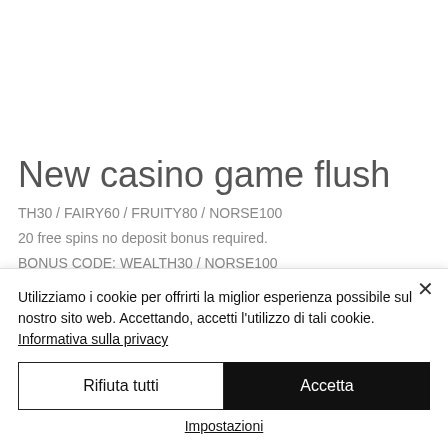New casino game flush
TH30 / FAIRY60 / FRUITY80 / NORSE100
20 free spins no deposit bonus required.
BONUS CODE: WEALTH30 / NORSE100
Collect Termed bonus...
Utilizziamo i cookie per offrirti la miglior esperienza possibile sul nostro sito web. Accettando, accetti l'utilizzo di tali cookie. Informativa sulla privacy
Rifiuta tutti
Accetta
Impostazioni